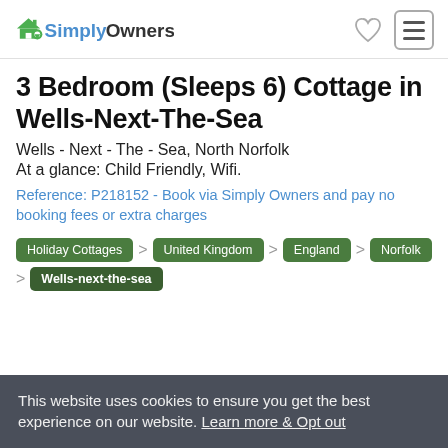SimplyOwners
3 Bedroom (Sleeps 6) Cottage in Wells-Next-The-Sea
Wells - Next - The - Sea, North Norfolk
At a glance: Child Friendly, Wifi.
Reference: P218152 - Book via Simply Owners and pay no booking fees or extra charges
Holiday Cottages > United Kingdom > England > Norfolk > Wells-next-the-sea
This website uses cookies to ensure you get the best experience on our website. Learn more & Opt out